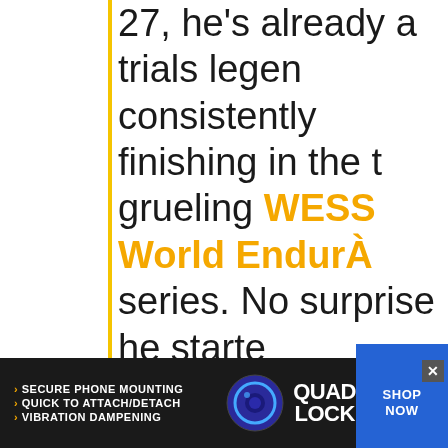27, he's already a trials legend, consistently finishing in the top of the grueling WESS World Enduro series. No surprise he started trials when he was just a tiny kid — his uncle is seven-time World Trials Champion Jordi Tarres.
If you want to see more of Po...
[Figure (other): Advertisement banner for Quad Lock phone mounting system. Dark background with white text listing features: SECURE PHONE MOUNTING, QUICK TO ATTACH/DETACH, VIBRATION DAMPENING. Quad Lock logo with circular icon on the right and blue SHOP NOW button.]